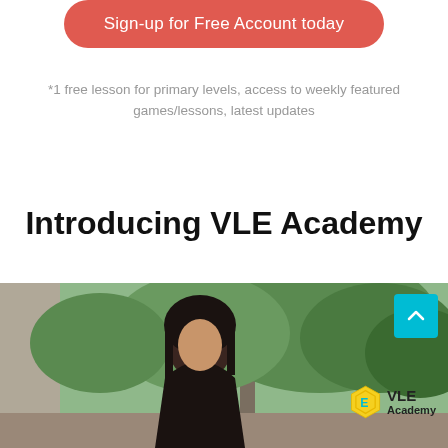[Figure (screenshot): Red rounded-rectangle button with white text 'Sign-up for Free Account today']
*1 free lesson for primary levels, access to weekly featured games/lessons, latest updates
Introducing VLE Academy
[Figure (photo): Photo of a woman (dark hair) standing outdoors in front of trees, with a VLE Academy logo badge in the lower right corner and a cyan scroll-up button overlay]